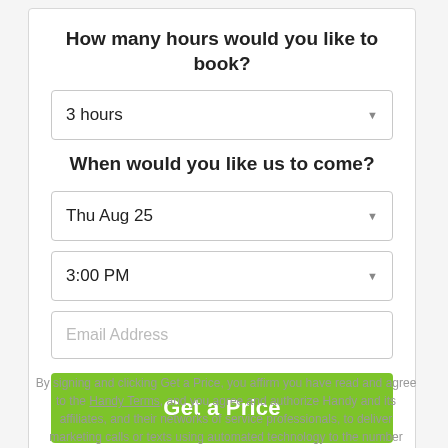How many hours would you like to book?
3 hours
When would you like us to come?
Thu Aug 25
3:00 PM
Email Address
Get a Price
By signing and clicking Get a Price, you affirm you have read and agree to the Handy Terms, and you agree and authorize Handy and its affiliates, and their networks of service professionals, to deliver marketing calls or texts using automated technology to the number